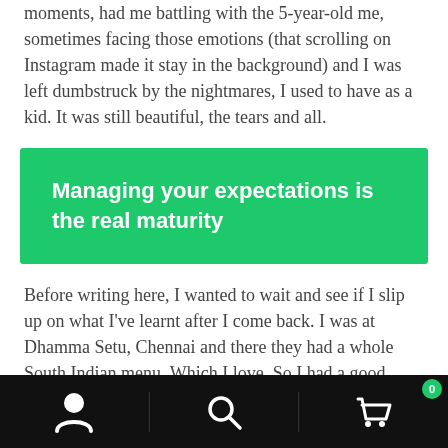moments, had me battling with the 5-year-old me, sometimes facing those emotions (that scrolling on Instagram made it stay in the background) and I was left dumbstruck by the nightmares, I used to have as a kid. It was still beautiful, the tears and all.
Managing your expectations is the real maturity
Before writing here, I wanted to wait and see if I slip up on what I've learnt after I come back. I was at Dhamma Setu, Chennai and there they had a whole South Indian menu. Which I love. So I had a good experience, even being Vegan and Gluten-free wasn't hard. Still, I did not expect that we
[Figure (other): Mobile app bottom navigation bar with black background, containing three icons: a person/account icon on the left, a search magnifying glass icon in the center, and a shopping cart icon with a badge showing '0' on the right.]